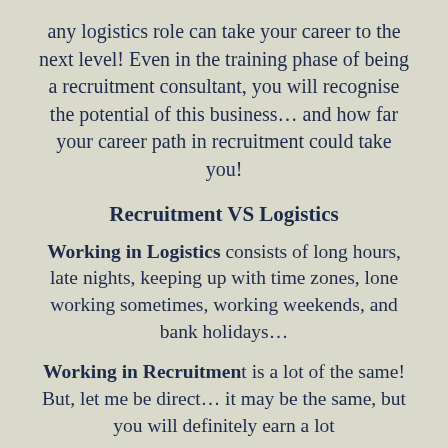any logistics role can take your career to the next level! Even in the training phase of being a recruitment consultant, you will recognise the potential of this business… and how far your career path in recruitment could take you!
Recruitment VS Logistics
Working in Logistics consists of long hours, late nights, keeping up with time zones, lone working sometimes, working weekends, and bank holidays…
Working in Recruitment is a lot of the same! But, let me be direct… it may be the same, but you will definitely earn a lot